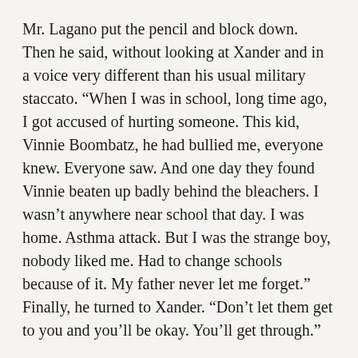Mr. Lagano put the pencil and block down. Then he said, without looking at Xander and in a voice very different than his usual military staccato. “When I was in school, long time ago, I got accused of hurting someone. This kid, Vinnie Boombatz, he had bullied me, everyone knew. Everyone saw. And one day they found Vinnie beaten up badly behind the bleachers. I wasn’t anywhere near school that day. I was home. Asthma attack. But I was the strange boy, nobody liked me. Had to change schools because of it. My father never let me forget.” Finally, he turned to Xander. “Don’t let them get to you and you’ll be okay. You’ll get through.”
Xander nodded, and very quickly completed the assignment. He used his erasing shield to scrub away every imperfection.